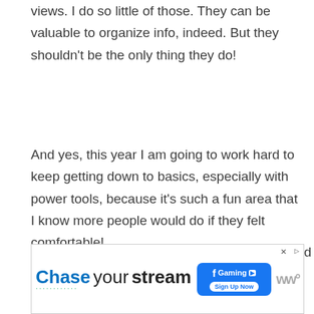views. I do so little of those. They can be valuable to organize info, indeed. But they shouldn't be the only thing they do!
And yes, this year I am going to work hard to keep getting down to basics, especially with power tools, because it's such a fun area that I know more people would do if they felt comfortable!
Thanks again for being such a great reader and 'net friend! It means a lot! And most of all, thanks for sticking around! If you ever feel
[Figure (other): Advertisement banner: Chase your stream. Features Facebook Gaming logo with Sign Up Now button, and WW logo on the right.]